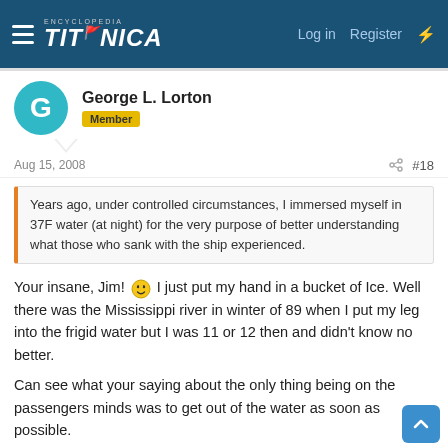Encyclopedia Titanica — Log in  Register
George L. Lorton
Member
Aug 15, 2008  #18
Years ago, under controlled circumstances, I immersed myself in 37F water (at night) for the very purpose of better understanding what those who sank with the ship experienced.
Your insane, Jim! 😆 I just put my hand in a bucket of Ice. Well there was the Mississippi river in winter of 89 when I put my leg into the frigid water but I was 11 or 12 then and didn't know no better.
Can see what your saying about the only thing being on the passengers minds was to get out of the water as soon as possible.